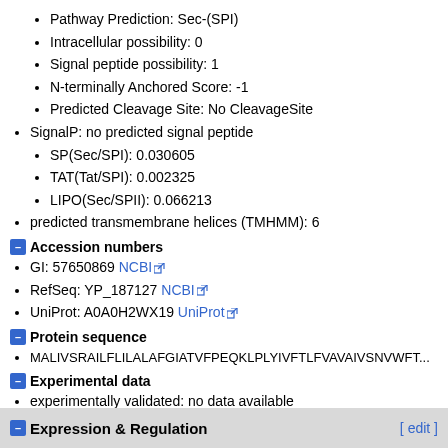Pathway Prediction: Sec-(SPI)
Intracellular possibility: 0
Signal peptide possibility: 1
N-terminally Anchored Score: -1
Predicted Cleavage Site: No CleavageSite
SignalP: no predicted signal peptide
SP(Sec/SPI): 0.030605
TAT(Tat/SPI): 0.002325
LIPO(Sec/SPII): 0.066213
predicted transmembrane helices (TMHMM): 6
Accession numbers
GI: 57650869 NCBI
RefSeq: YP_187127 NCBI
UniProt: A0A0H2WX19 UniProt
Protein sequence
MALIVSRAILFLILALAFGIATVFPEQKLPLYIVFTLFVAVAIVSNVWFT...
Experimental data
experimentally validated: no data available
Expression & Regulation